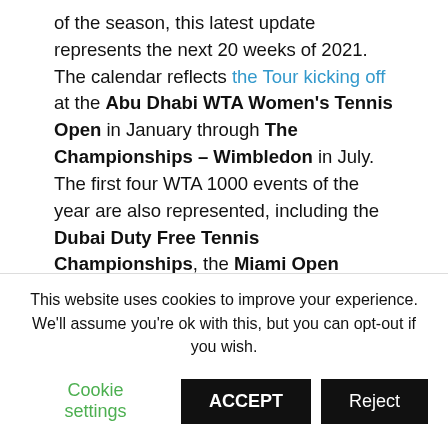of the season, this latest update represents the next 20 weeks of 2021. The calendar reflects the Tour kicking off at the Abu Dhabi WTA Women's Tennis Open in January through The Championships – Wimbledon in July. The first four WTA 1000 events of the year are also represented, including the Dubai Duty Free Tennis Championships, the Miami Open presented by Itaú, the Mutua Madrid Open and the Internazionali BNL d'Italia (Rome).
The Provisional 2021 @WTA calendar maps out the season through Wimbledon.
This website uses cookies to improve your experience. We'll assume you're ok with this, but you can opt-out if you wish.